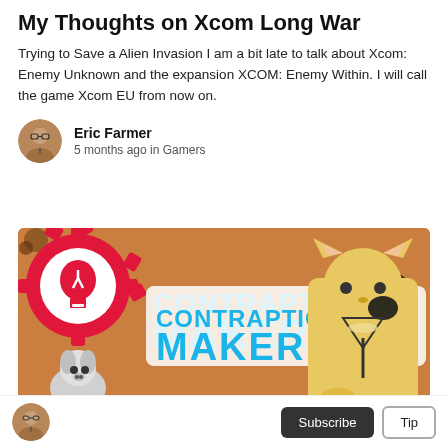My Thoughts on Xcom Long War
Trying to Save a Alien Invasion I am a bit late to talk about Xcom: Enemy Unknown and the expansion XCOM: Enemy Within. I will call the game Xcom EU from now on.
Eric Farmer
5 months ago in Gamers
[Figure (photo): Contraption Maker game banner image showing logo with gear and lightbulb, cartoon dog and cat characters on a cardboard textured background]
Subscribe  Tip